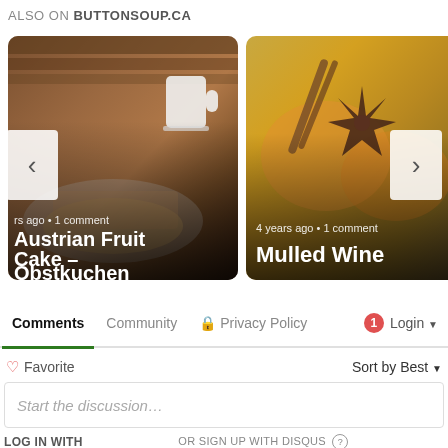ALSO ON BUTTONSOUP.CA
[Figure (photo): Carousel card showing Austrian Fruit Cake (Obstkuchen) with a white mug in the background, with text 'rs ago • 1 comment' and title 'Austrian Fruit Cake – Obstkuchen']
[Figure (photo): Carousel card showing spices (star anise and orange peel) for Mulled Wine, with text '4 years ago • 1 comment' and title 'Mulled Wine']
Comments  Community  🔒 Privacy Policy  1  Login ▾
♡ Favorite   Sort by Best ▾
Start the discussion...
LOG IN WITH   OR SIGN UP WITH DISQUS (?)